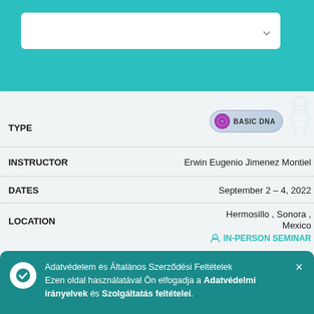[Figure (screenshot): Top teal navigation bar with white dropdown selector box containing a chevron]
| Field | Value |
| --- | --- |
| TYPE | BASIC DNA |
| INSTRUCTOR | Erwin Eugenio Jimenez Montiel |
| DATES | September 2 - 4, 2022 |
| LOCATION | Hermosillo, Sonora, Mexico
IN-PERSON SEMINAR |
|  | Tudj meg többet |
| TYPE | BASIC DNA |
| INSTRUCTOR (partial) |  |
| DATES (partial) | 2022 |
| LOCATION (partial) | Russia |
Adatvédelem és Általános Szerződési Feltételek Ezen oldal használatával Ön elfogadja a Adatvédelmi irányelvek és Szolgáltatás feltételei.